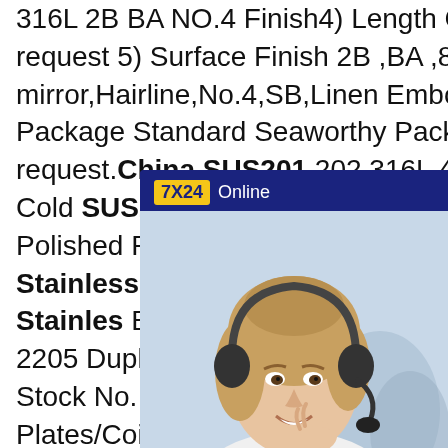316L 2B BA NO.4 Finish4) Length Coils or acc to your request 5) Surface Finish 2B ,BA ,8k mirror,Hairline,No.4,SB,Linen Embossed,Etching.6) Package Standard Seaworthy Package for Export or your request.China SUS201 202 316L 409 2205 Duplex Sat Cold SUS201 202 304L 316L 409 2205 Sat Cold Rolled Polished Roofing Decorate Stock No. 1 No. 2D No. Finish Stainless Steel Ss Plates/ Find details about China Stainles Building Material from SUS201 20 316L 409 2205 Duplex Sat Cold Rolled Polished Roofing Decorate Stock No. 1 No. 2D No. 2b Ba Finish Stainless Steel Ss Plates/Coils - Wuxi Hengchengtai China Food Grade SUS201 202 304L 316L 409 2205 DuplexChina Food Grade
[Figure (other): Live chat widget showing a customer service representative wearing a headset, with '7X24 Online' header banner in dark blue with yellow text, photo of smiling woman with headset, 'Hello,may I help you?' text, and a 'Get Latest Price' yellow button.]